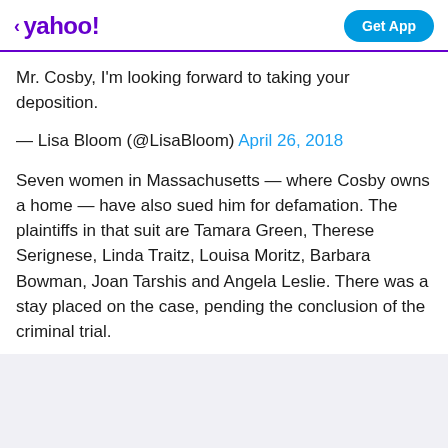< yahoo! | Get App
Mr. Cosby, I'm looking forward to taking your deposition.
— Lisa Bloom (@LisaBloom) April 26, 2018
Seven women in Massachusetts — where Cosby owns a home — have also sued him for defamation. The plaintiffs in that suit are Tamara Green, Therese Serignese, Linda Traitz, Louisa Moritz, Barbara Bowman, Joan Tarshis and Angela Leslie. There was a stay placed on the case, pending the conclusion of the criminal trial.
View comments | Facebook | Twitter | Email